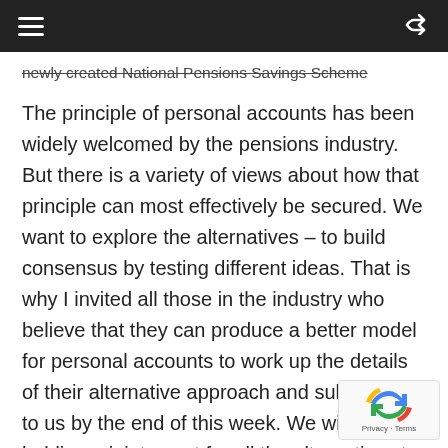newly created National Pensions Savings Scheme
The principle of personal accounts has been widely welcomed by the pensions industry. But there is a variety of views about how that principle can most effectively be secured. We want to explore the alternatives – to build consensus by testing different ideas. That is why I invited all those in the industry who believe that they can produce a better model for personal accounts to work up the details of their alternative approach and submit them to us by the end of this week. We will be holding a joint event for all the alternatives to be presented and considered on 28 February.
Simplicity
Another key test is simplicity – straightforwardness